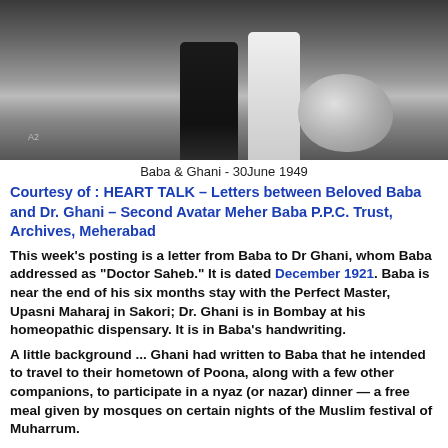[Figure (photo): Black and white photograph showing two figures (Baba and Ghani) standing, with a large rock visible on the right side of the image.]
Baba & Ghani - 30June 1949
Courtesy of : HEART TALK – Letters between Beloved Baba and Dr. Ghani – Second Avatar Meher Baba P.P.C. Trust, Archives, Meherabad
This week's posting is a letter from Baba to Dr Ghani, whom Baba addressed as "Doctor Saheb." It is dated December 1921. Baba is near the end of his six months stay with the Perfect Master, Upasni Maharaj in Sakori; Dr. Ghani is in Bombay at his homeopathic dispensary. It is in Baba's handwriting.
A little background ... Ghani had written to Baba that he intended to travel to their hometown of Poona, along with a few other companions, to participate in a nyaz (or nazar) dinner — a free meal given by mosques on certain nights of the Muslim festival of Muharrum.